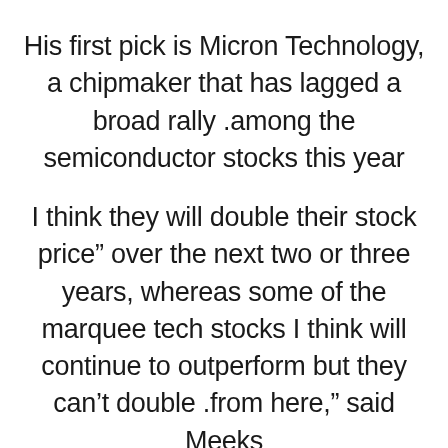His first pick is Micron Technology, a chipmaker that has lagged a broad rally among the semiconductor stocks this year.
"I think they will double their stock price over the next two or three years, whereas some of the marquee tech stocks I think will continue to outperform but they can't double from here," said Meeks.
Micron is down 7% in 2020, while the SMH semiconductor ETF has gained 18%.